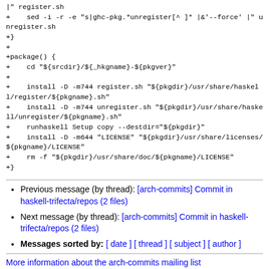| register.sh
+    sed -i -r -e "s|ghc-pkg.*unregister[^ ]* |&'--force' |" unregister.sh
+}
+
+package() {
+    cd "${srcdir}/${_hkgname}-${pkgver}"
+
+    install -D -m744 register.sh "${pkgdir}/usr/share/haskell/register/${pkgname}.sh"
+    install -D -m744 unregister.sh "${pkgdir}/usr/share/haskell/unregister/${pkgname}.sh"
+    runhaskell Setup copy --destdir="${pkgdir}"
+    install -D -m644 "LICENSE" "${pkgdir}/usr/share/licenses/${pkgname}/LICENSE"
+    rm -f "${pkgdir}/usr/share/doc/${pkgname}/LICENSE"
+}
Previous message (by thread): [arch-commits] Commit in haskell-trifecta/repos (2 files)
Next message (by thread): [arch-commits] Commit in haskell-trifecta/repos (2 files)
Messages sorted by: [ date ] [ thread ] [ subject ] [ author ]
More information about the arch-commits mailing list